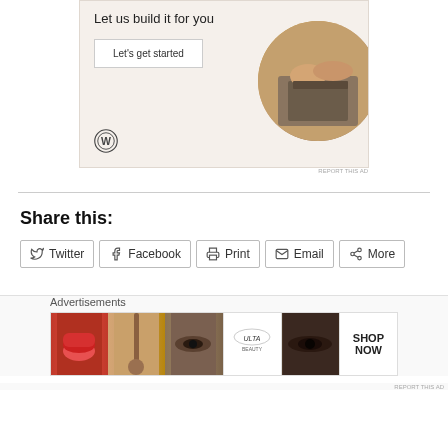[Figure (illustration): WordPress advertisement banner with 'Let us build it for you' headline, 'Let's get started' button, WordPress logo, and circular photo of hands on laptop]
REPORT THIS AD
Share this:
Twitter
Facebook
Print
Email
More
Loading...
Advertisements
[Figure (illustration): Ulta Beauty advertisement strip showing makeup photos: lips, brush, eyes, Ulta logo, eyes, and SHOP NOW text]